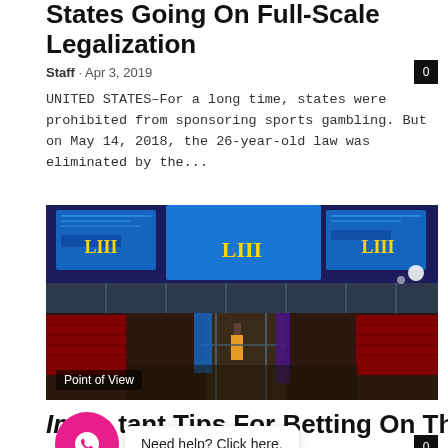States Going On Full-Scale Legalization
Staff · Apr 3, 2019
UNITED STATES–For a long time, states were prohibited from sponsoring sports gambling. But on May 14, 2018, the 26-year-old law was eliminated by the...
[Figure (photo): Interior of a stadium decorated with Super Bowl LIII (LII) branding, large blue LED screens and signage, red seats visible, workers on the field/stage area. Label 'Point of View' in bottom-left corner.]
Important Tips For Betting On The NFL
Staff · Need help? Click here.
UNITED STATES–When it comes to betting, it's not easy in the National Football League (NFL). There are plenty of great moments